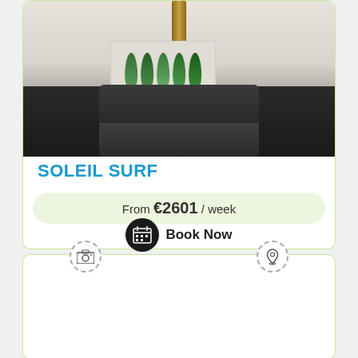[Figure (photo): Interior photo of a living room with a dark grey sofa and a painting of green leaves/surfboards on the wall above it, wooden stake visible at top]
SOLEIL SURF
From €2601 / week
Book Now
[Figure (other): Bottom card with camera icon and location pin icon, partially visible]